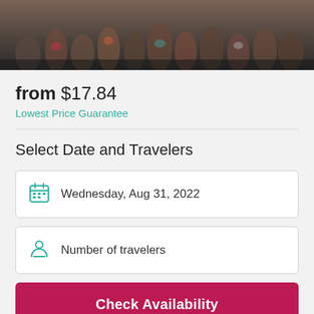[Figure (photo): Group photo of many tourists/travelers posing and celebrating outdoors, shown as a banner at the top of the page.]
from $17.84
Lowest Price Guarantee
Select Date and Travelers
Wednesday, Aug 31, 2022
Number of travelers
Check Availability
Free cancellation
Up to 24 hours in advance. Learn more